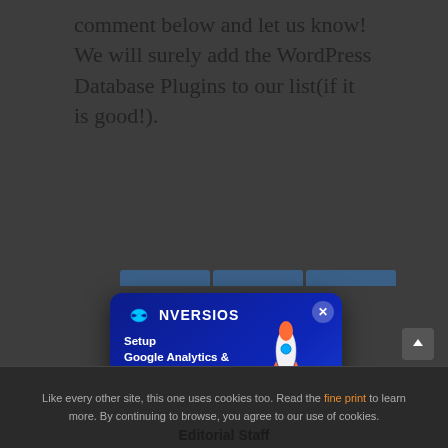comment below and let us know! We will surely add the WordPress Database Plugins to our list(if it is good!).
[Figure (infographic): Conversios popup advertisement: dark blue gradient background with Conversios logo (infinity symbol + NVERSIOS text), headline 'Setup Google Analytics & Google Ads to Scale Faster', a 'Try Now' button, and an illustration of a computer monitor showing Google Analytics and Google Ads logos with a rocket launching, close X button in top right.]
Like every other site, this one uses cookies too. Read the fine print to learn more. By continuing to browse, you agree to our use of cookies.
Editorial Staff